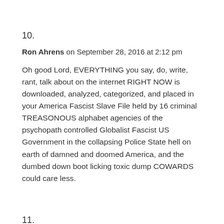10.
Ron Ahrens on September 28, 2016 at 2:12 pm
Oh good Lord, EVERYTHING you say, do, write, rant, talk about on the internet RIGHT NOW is downloaded, analyzed, categorized, and placed in your America Fascist Slave File held by 16 criminal TREASONOUS alphabet agencies of the psychopath controlled Globalist Fascist US Government in the collapsing Police State hell on earth of damned and doomed America, and the dumbed down boot licking toxic dump COWARDS could care less.
11.
Ketchupondemand on September 28, 2016 at 2:16 pm
Couple of years ago I read that China had 30,000 internet police whose main job was deleting free